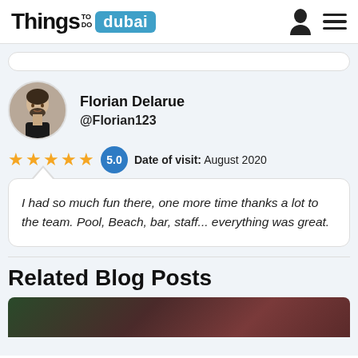Things TO DO dubai
[Figure (illustration): Circular avatar photo of Florian Delarue, a man with short dark hair and beard wearing a black shirt]
Florian Delarue
@Florian123
★★★★★ 5.0  Date of visit: August 2020
I had so much fun there, one more time thanks a lot to the team. Pool, Beach, bar, staff... everything was great.
Related Blog Posts
[Figure (photo): Partial blog post thumbnail image showing dark colorful scene]